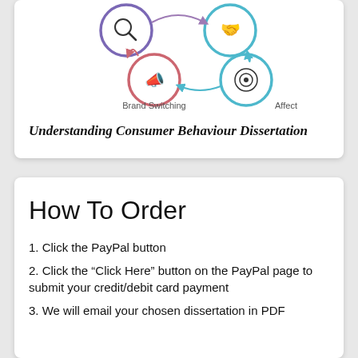[Figure (infographic): Circular diagram showing consumer behaviour concepts: Conformity (top left), Brand Loyalty (top right), Brand Switching (bottom left, megaphone icon), Affect (bottom right, target icon), connected with arrows in a cycle.]
Understanding Consumer Behaviour Dissertation
How To Order
1. Click the PayPal button
2. Click the “Click Here” button on the PayPal page to submit your credit/debit card payment
3. We will email your chosen dissertation in PDF